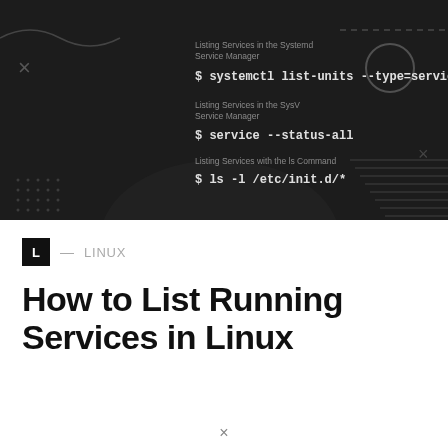[Figure (screenshot): Dark terminal/command-line illustration showing Linux service listing commands with decorative geometric shapes. Shows three sections: 'Listing Services in the Systemd Service Manager' with command '$ systemctl list-units --type=service', 'Listing Services in the SysV Service Manager' with command '$ service --status-all', and 'Listing Services with the ls Command' with command '$ ls -l /etc/init.d/*'. Dark background with cross, circle, and striped decorative elements.]
L — LINUX
How to List Running Services in Linux